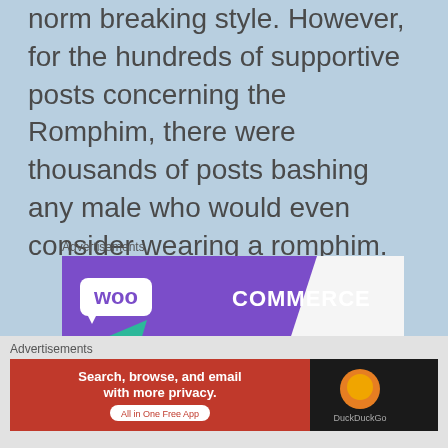norm breaking style. However, for the hundreds of supportive posts concerning the Romphim, there were thousands of posts bashing any male who would even consider wearing a romphim.
Advertisements
[Figure (screenshot): WooCommerce advertisement banner with purple header, WooCommerce logo, teal and light blue decorative shapes, and text 'How to start selling']
Advertisements
[Figure (screenshot): DuckDuckGo advertisement: 'Search, browse, and email with more privacy. All in One Free App' on red background with DuckDuckGo logo on dark background]